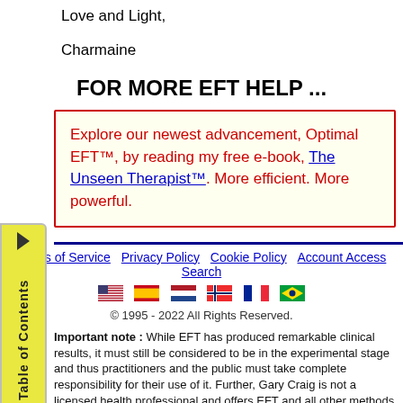Love and Light,
Charmaine
FOR MORE EFT HELP ...
Explore our newest advancement, Optimal EFT™, by reading my free e-book, The Unseen Therapist™. More efficient. More powerful.
Terms of Service  Privacy Policy  Cookie Policy  Account Access  Search
© 1995 - 2022 All Rights Reserved.
Important note : While EFT has produced remarkable clinical results, it must still be considered to be in the experimental stage and thus practitioners and the public must take complete responsibility for their use of it. Further, Gary Craig is not a licensed health professional and offers EFT and all other methods on this website as an ordained minister and as a personal performance coach. Please consult qualified health practitioners regarding your use of anything on this website.